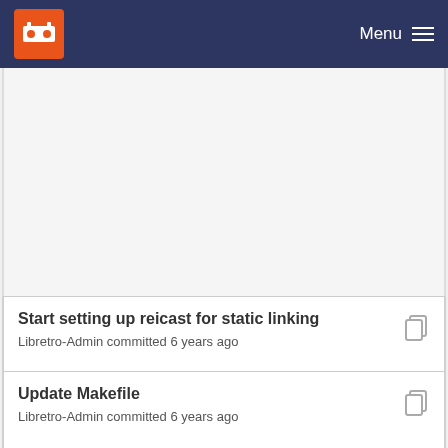Menu
Start setting up reicast for static linking
Libretro-Admin committed 6 years ago
Update Makefile
Libretro-Admin committed 6 years ago
Start setting up reicast for static linking
Libretro-Admin committed 6 years ago